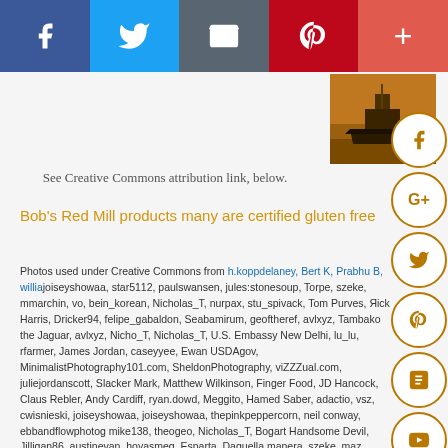[Figure (infographic): Top social sharing bar with Facebook (dark blue), Twitter (light blue), Email/share (gray), Pinterest (red), and More/Plus (salmon-red) buttons with white icons]
[Figure (photo): Partial photo of a ship/boat on water with warm orange/brown tones, Creative Commons licensed]
See Creative Commons attribution link, below.
Bob's Red Mill products many are certified gluten free
Photos used under Creative Commons from h.koppdelaney, Bert K, Prabhu B, williajoiseyshowaa, star5112, paulswansen, jules:stonesoup, Torpe, szeke, mmarchin, vo, bein_korean, Nicholas_T, nurpax, stu_spivack, Tom Purves, Rick Harris, Dricker94, felipe_gabaldon, Seabamirum, geoftheref, avlxyz, Tambako the Jaguar, avlxyz, Nicholas_T, Nicholas_T, U.S. Embassy New Delhi, lu_lu, rfarmer, James Jordan, caseyyee, Ewan, USDAgov, MinimalistPhotography101.com, SheldonPhotography, viZZZual.com, juliejordanscott, Slacker Mark, Matthew Wilkinson, Finger Food, JD Hancock, Claus Rebler, Andy Cardiff, ryan.dowd, Meggito, Hamed Saber, adactio, vsz, cwisnieski, joiseyshowaa, joiseyshowaa, thepinkpeppercorn, neil conway, ebbandflowphotography, mike138, theogeo, Nicholas_T, Bogart Handsome Devil, Jilligan86, austinevan, hoyasmeg, Esparta, Daquella manera, szeke, maz hewitt, chakchouka, Christian Frausto Bernal, jinterwas, Tambako the Jaguar, Dene {Seattle} Miles, rachaelvoorhees, joiseyshow, "L*u*z*A", thephotographymuse, Debasis ~~, mommyknows { Kim Becker }, saturn_h , Rick
[Figure (infographic): Right-side circular social sharing icons: Facebook, Google+, Twitter, Pinterest, Blogger, YouTube, More (ellipsis) — all with gold/amber outline on white circle]